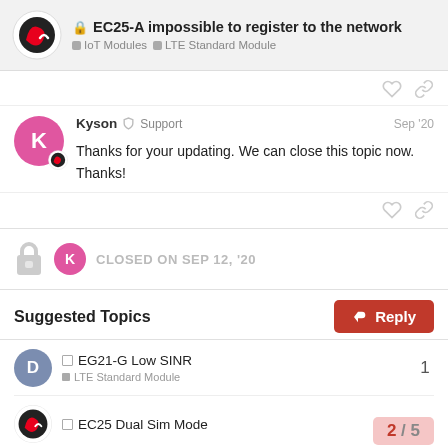EC25-A impossible to register to the network — IoT Modules > LTE Standard Module
Thanks for your updating. We can close this topic now. Thanks!
Kyson — Support — Sep '20
CLOSED ON SEP 12, '20
Suggested Topics
EG21-G Low SINR — LTE Standard Module — 1
EC25 Dual Sim Mode
2 / 5